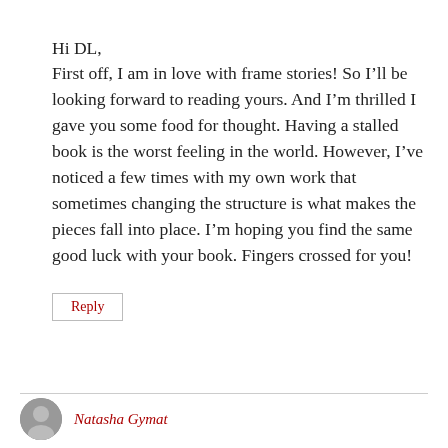Hi DL,
First off, I am in love with frame stories! So I'll be looking forward to reading yours. And I'm thrilled I gave you some food for thought. Having a stalled book is the worst feeling in the world. However, I've noticed a few times with my own work that sometimes changing the structure is what makes the pieces fall into place. I'm hoping you find the same good luck with your book. Fingers crossed for you!
Reply
Natasha Gymat